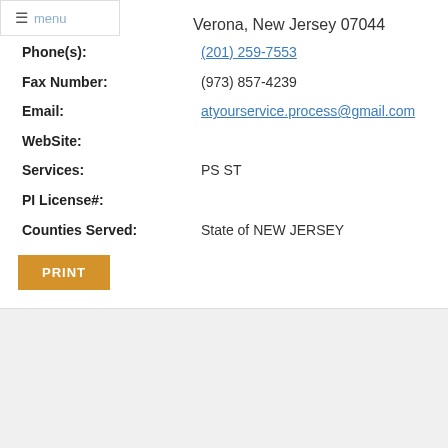Verona, New Jersey 07044
Phone(s): (201) 259-7553
Fax Number: (973) 857-4239
Email: atyourservice.process@gmail.com
WebSite:
Services: PS ST
PI License#:
Counties Served: State of NEW JERSEY
PRINT
About NAPPS